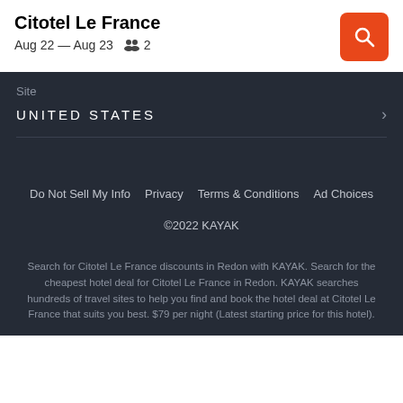Citotel Le France
Aug 22 — Aug 23   👥 2
Site
UNITED STATES
Do Not Sell My Info   Privacy   Terms & Conditions   Ad Choices
©2022 KAYAK
Search for Citotel Le France discounts in Redon with KAYAK. Search for the cheapest hotel deal for Citotel Le France in Redon. KAYAK searches hundreds of travel sites to help you find and book the hotel deal at Citotel Le France that suits you best. $79 per night (Latest starting price for this hotel).